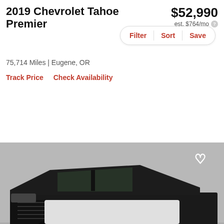2019 Chevrolet Tahoe Premier
$52,990
est. $764/mo
Filter  Sort  Save
75,714 Miles | Eugene, OR
Track Price   Check Availability
[Figure (photo): Black 2019 Chevrolet Tahoe Premier SUV photographed on a checkered floor background in a studio setting, three-quarter front view]